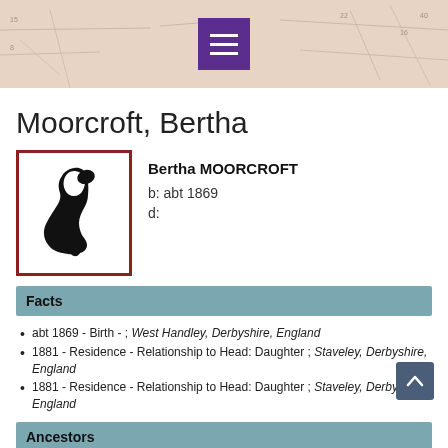Navigation header with map background and hamburger menu
Moorcroft, Bertha
Bertha MOORCROFT
b: abt 1869
d:
[Figure (illustration): Black silhouette profile of a woman facing left, in a red-bordered white box]
Facts
abt 1869 - Birth - ; West Handley, Derbyshire, England
1881 - Residence - Relationship to Head: Daughter ; Staveley, Derbyshire, England
1881 - Residence - Relationship to Head: Daughter ; Staveley, Derbyshire, England
Ancestors